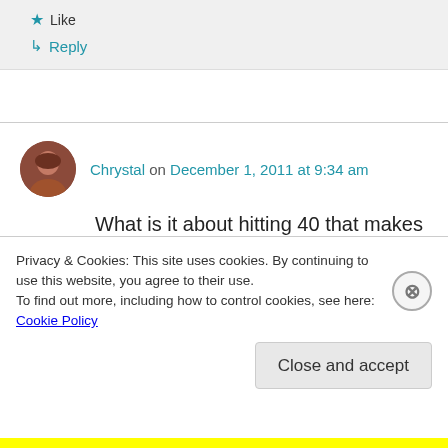★ Like
↳ Reply
Chrystal on December 1, 2011 at 9:34 am
What is it about hitting 40 that makes all printed material turn blurry? I always thought my (older)
Privacy & Cookies: This site uses cookies. By continuing to use this website, you agree to their use.
To find out more, including how to control cookies, see here: Cookie Policy
Close and accept